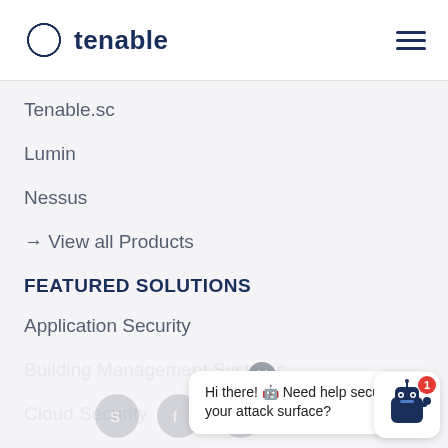[Figure (logo): Tenable logo with hexagonal ring icon and 'tenable' wordmark in dark navy blue]
[Figure (other): Hamburger menu icon (three horizontal lines) in dark navy blue]
Tenable.sc
Lumin
Nessus
→ View all Products
FEATURED SOLUTIONS
Application Security
Building Management Systems
Cloud Security
Hi there! 🤖 Need help securing your attack surface?